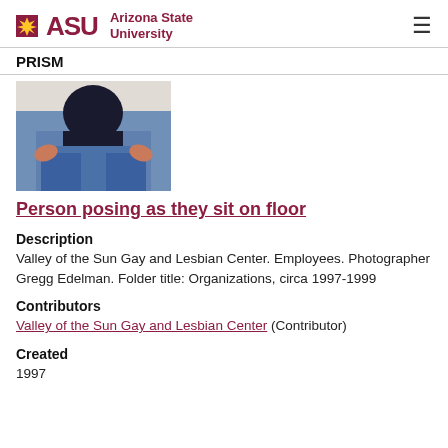ASU Arizona State University
PRISM
[Figure (photo): Partial photo of a person sitting on the floor wearing a black top and blue jeans, viewed from behind/side, arms out.]
Person posing as they sit on floor
Description
Valley of the Sun Gay and Lesbian Center. Employees. Photographer Gregg Edelman. Folder title: Organizations, circa 1997-1999
Contributors
Valley of the Sun Gay and Lesbian Center (Contributor)
Created
1997